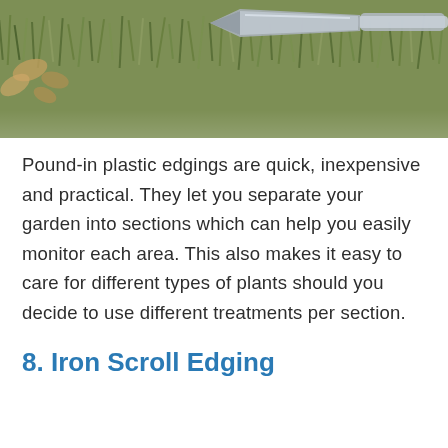[Figure (photo): A photo showing garden edging tool (trowel/spade-like metal tool) resting on green grass with some dead leaves visible]
Pound-in plastic edgings are quick, inexpensive and practical. They let you separate your garden into sections which can help you easily monitor each area. This also makes it easy to care for different types of plants should you decide to use different treatments per section.
8. Iron Scroll Edging